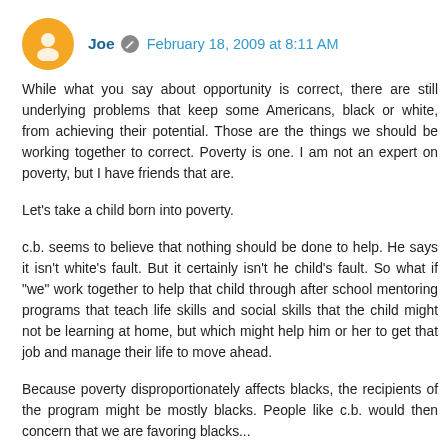Joe  February 18, 2009 at 8:11 AM
While what you say about opportunity is correct, there are still underlying problems that keep some Americans, black or white, from achieving their potential. Those are the things we should be working together to correct. Poverty is one. I am not an expert on poverty, but I have friends that are.
Let's take a child born into poverty.
c.b. seems to believe that nothing should be done to help. He says it isn't white's fault. But it certainly isn't he child's fault. So what if "we" work together to help that child through after school mentoring programs that teach life skills and social skills that the child might not be learning at home, but which might help him or her to get that job and manage their life to move ahead.
Because poverty disproportionately affects blacks, the recipients of the program might be mostly blacks. People like c.b. would then concern that we are favoring blacks...